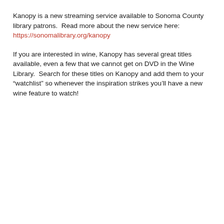Kanopy is a new streaming service available to Sonoma County library patrons.  Read more about the new service here: https://sonomalibrary.org/kanopy
If you are interested in wine, Kanopy has several great titles available, even a few that we cannot get on DVD in the Wine Library.  Search for these titles on Kanopy and add them to your “watchlist” so whenever the inspiration strikes you’ll have a new wine feature to watch!